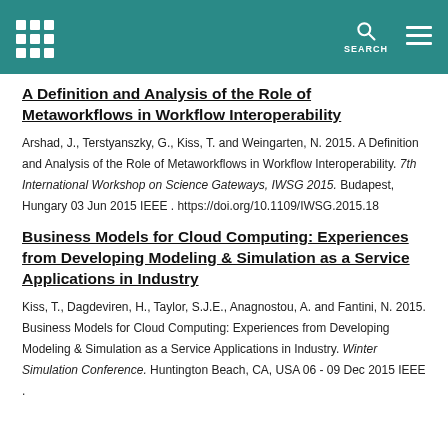SEARCH
A Definition and Analysis of the Role of Metaworkflows in Workflow Interoperability
Arshad, J., Terstyanszky, G., Kiss, T. and Weingarten, N. 2015. A Definition and Analysis of the Role of Metaworkflows in Workflow Interoperability. 7th International Workshop on Science Gateways, IWSG 2015. Budapest, Hungary 03 Jun 2015 IEEE . https://doi.org/10.1109/IWSG.2015.18
Business Models for Cloud Computing: Experiences from Developing Modeling & Simulation as a Service Applications in Industry
Kiss, T., Dagdeviren, H., Taylor, S.J.E., Anagnostou, A. and Fantini, N. 2015. Business Models for Cloud Computing: Experiences from Developing Modeling & Simulation as a Service Applications in Industry. Winter Simulation Conference. Huntington Beach, CA, USA 06 - 09 Dec 2015 IEEE .